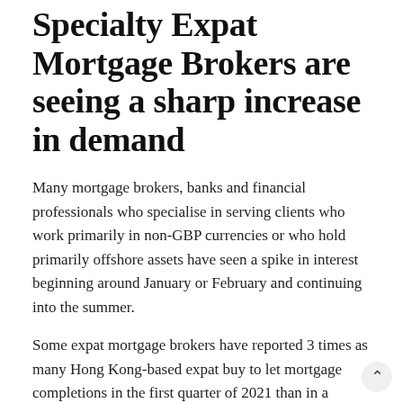Specialty Expat Mortgage Brokers are seeing a sharp increase in demand
Many mortgage brokers, banks and financial professionals who specialise in serving clients who work primarily in non-GBP currencies or who hold primarily offshore assets have seen a spike in interest beginning around January or February and continuing into the summer.
Some expat mortgage brokers have reported 3 times as many Hong Kong-based expat buy to let mortgage completions in the first quarter of 2021 than in a typical first quarter. Specialty expat mortgage brokers are seeing a corresponding increase in interest. It is not uncommon for enquiries for Residential Expat Mortgages and Expat Buy to Let Mortgages to doubled recently, even discounting the extra interest from